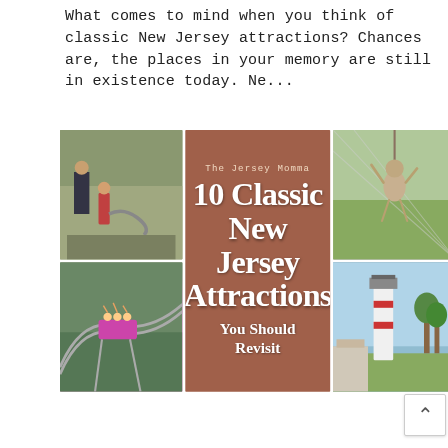What comes to mind when you think of classic New Jersey attractions? Chances are, the places in your memory are still in existence today. Ne...
[Figure (infographic): Collage of 5 photos arranged in a grid: top-left shows adults and children at an outdoor attraction, center (tall) is a red-brick textured poster reading 'The Jersey Momma / 10 Classic New Jersey Attractions / You Should Revisit', top-right shows a gibbon/monkey hanging from a rope/net, bottom-left shows people on a pink roller coaster, bottom-right shows a white lighthouse with blue sky. A white scroll-to-top button overlaps bottom-right corner.]